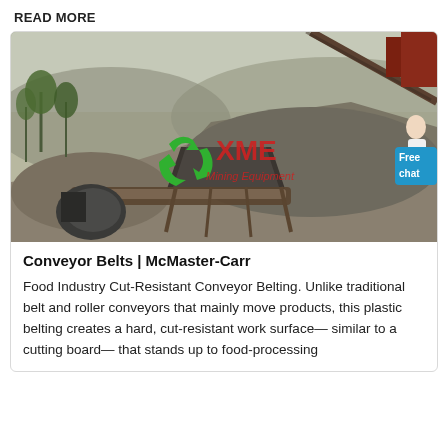READ MORE
[Figure (photo): Aerial view of a mining/quarry site with conveyor belt machinery, gravel piles, trees, and hazy sky. XME Mining Equipment logo overlay in red and green. A person in white lab coat in top-right corner. Blue 'Free chat' button in top-right.]
Conveyor Belts | McMaster-Carr
Food Industry Cut-Resistant Conveyor Belting. Unlike traditional belt and roller conveyors that mainly move products, this plastic belting creates a hard, cut-resistant work surface—similar to a cutting board— that stands up to food-processing